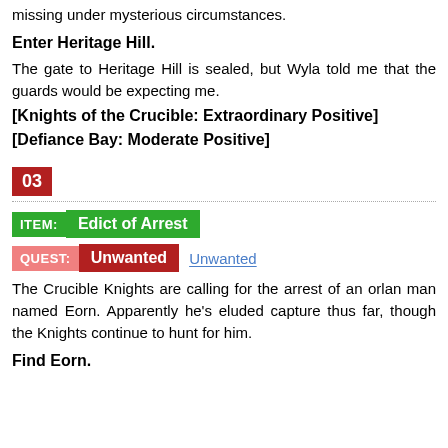missing under mysterious circumstances.
Enter Heritage Hill.
The gate to Heritage Hill is sealed, but Wyla told me that the guards would be expecting me.
[Knights of the Crucible: Extraordinary Positive]
[Defiance Bay: Moderate Positive]
03
ITEM: Edict of Arrest
QUEST: Unwanted   Unwanted
The Crucible Knights are calling for the arrest of an orlan man named Eorn. Apparently he's eluded capture thus far, though the Knights continue to hunt for him.
Find Eorn.